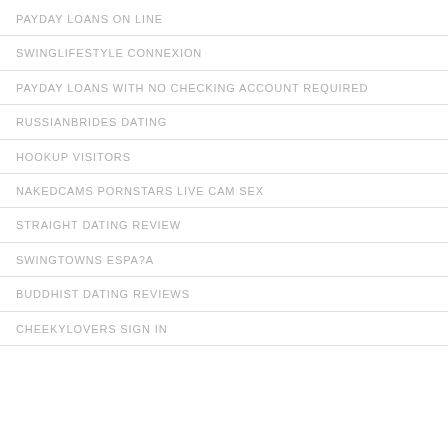PAYDAY LOANS ON LINE
SWINGLIFESTYLE CONNEXION
PAYDAY LOANS WITH NO CHECKING ACCOUNT REQUIRED
RUSSIANBRIDES DATING
HOOKUP VISITORS
NAKEDCAMS PORNSTARS LIVE CAM SEX
STRAIGHT DATING REVIEW
SWINGTOWNS ESPA?A
BUDDHIST DATING REVIEWS
CHEEKYLOVERS SIGN IN